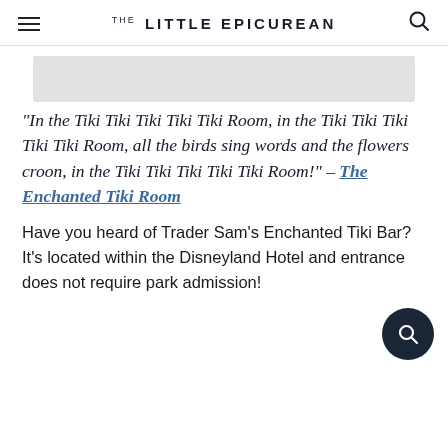THE LITTLE EPICUREAN
[Figure (photo): Light gray image placeholder rectangle]
“In the Tiki Tiki Tiki Tiki Tiki Room, in the Tiki Tiki Tiki Tiki Tiki Room, all the birds sing words and the flowers croon, in the Tiki Tiki Tiki Tiki Tiki Room!” – The Enchanted Tiki Room
Have you heard of Trader Sam’s Enchanted Tiki Bar? It’s located within the Disneyland Hotel and entrance does not require park admission!